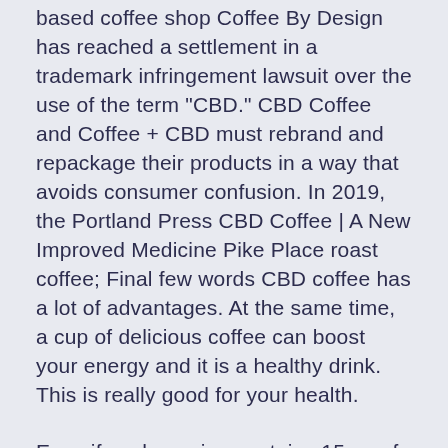based coffee shop Coffee By Design has reached a settlement in a trademark infringement lawsuit over the use of the term "CBD." CBD Coffee and Coffee + CBD must rebrand and repackage their products in a way that avoids consumer confusion. In 2019, the Portland Press CBD Coffee | A New Improved Medicine Pike Place roast coffee; Final few words CBD coffee has a lot of advantages. At the same time, a cup of delicious coffee can boost your energy and it is a healthy drink. This is really good for your health.
Even if each serving contains 15mg of CBD, the CBD and Coffee | CBD School CBD hemp oil taken in moderate doses generally doesn’t produce any negative side effects.
label melbourne cbd